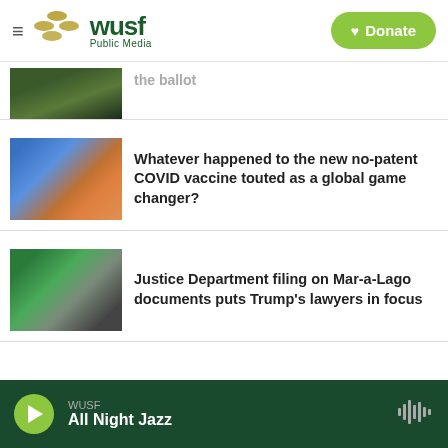WUSF Public Media — Donate
the ballot
Whatever happened to the new no-patent COVID vaccine touted as a global game changer?
Justice Department filing on Mar-a-Lago documents puts Trump's lawyers in focus
WUSF All Night Jazz